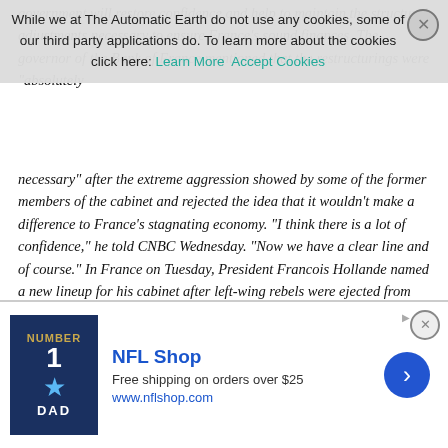government will restore confidence and help to maintain the structural adjustments necessary to ensure France's sound finances. The governor of the Bank of France mentioned that the restructurings were "absolutely necessary" after the extreme aggression showed by some of the former members of the cabinet and rejected the idea that it wouldn't make a difference to France's stagnating economy. "I think there is a lot of confidence," he told CNBC Wednesday. "Now we have a clear line and of course." In France on Tuesday, President Francois Hollande named a new lineup for his cabinet after left-wing rebels were ejected from their positions on Monday. The most significant and surprising appointment was that of Emmanuel Macron, a former Rothschild banker and ex-presidential economic adviser to Hollande.
Michael Sapin, the current finance minister was widely-tipped to be given the role, but the relatively unknown Macron will now be given the chance to work alongside Sapin. Macron is not a politician and is exactly the opposite of his predecessor Arnaud Montebourg. Montebourg...
[Figure (other): NFL Shop advertisement banner showing a Dallas Cowboys jersey with Number 1 Dad text, with free shipping offer and www.nflshop.com URL]